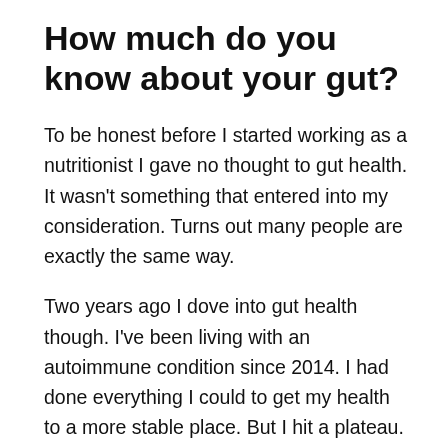How much do you know about your gut?
To be honest before I started working as a nutritionist I gave no thought to gut health. It wasn't something that entered into my consideration. Turns out many people are exactly the same way.
Two years ago I dove into gut health though. I've been living with an autoimmune condition since 2014. I had done everything I could to get my health to a more stable place. But I hit a plateau. Then I stumbled on research between